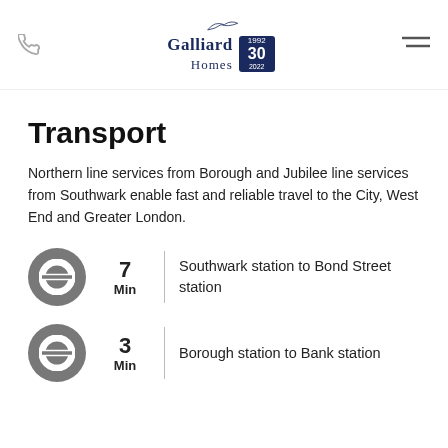Galliard Homes
Transport
Northern line services from Borough and Jubilee line services from Southwark enable fast and reliable travel to the City, West End and Greater London.
7 Min — Southwark station to Bond Street station
3 Min — Borough station to Bank station